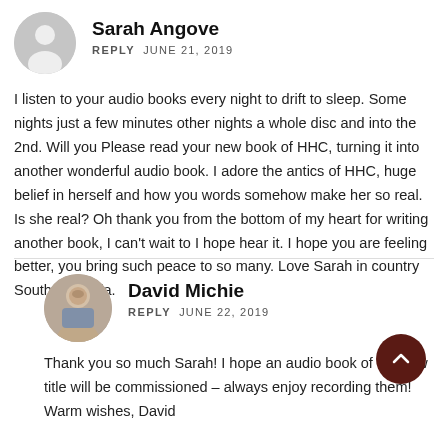Sarah Angove
REPLY   JUNE 21, 2019
I listen to your audio books every night to drift to sleep. Some nights just a few minutes other nights a whole disc and into the 2nd. Will you Please read your new book of HHC, turning it into another wonderful audio book. I adore the antics of HHC, huge belief in herself and how you words somehow make her so real. Is she real? Oh thank you from the bottom of my heart for writing another book, I can't wait to I hope hear it. I hope you are feeling better, you bring such peace to so many. Love Sarah in country South Australia.
David Michie
REPLY   JUNE 22, 2019
Thank you so much Sarah! I hope an audio book of the new title will be commissioned – always enjoy recording them! Warm wishes, David